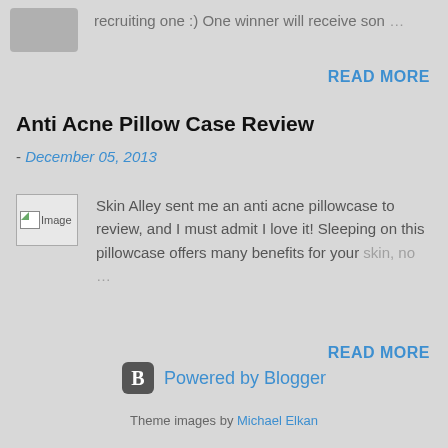[Figure (screenshot): Partial blog post thumbnail image (gray rectangle) with truncated text: 'recruiting one :) One winner will receive son ...']
READ MORE
Anti Acne Pillow Case Review
- December 05, 2013
[Figure (photo): Broken/placeholder image labeled 'Image']
Skin Alley sent me an anti acne pillowcase to review, and I must admit I love it! Sleeping on this pillowcase offers many benefits for your skin, no ...
READ MORE
Powered by Blogger
Theme images by Michael Elkan